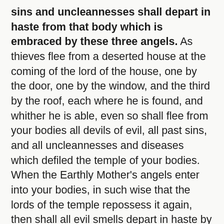For I tell you truly, the power of devils, all sins and uncleannesses shall depart in haste from that body which is embraced by these three angels. As thieves flee from a deserted house at the coming of the lord of the house, one by the door, one by the window, and the third by the roof, each where he is found, and whither he is able, even so shall flee from your bodies all devils of evil, all past sins, and all uncleannesses and diseases which defiled the temple of your bodies. When the Earthly Mother's angels enter into your bodies, in such wise that the lords of the temple repossess it again, then shall all evil smells depart in haste by your breath and by your skin, corrupt waters by your mouth and by your skin, by your hinder and your privy parts. And all these things you shall see with your